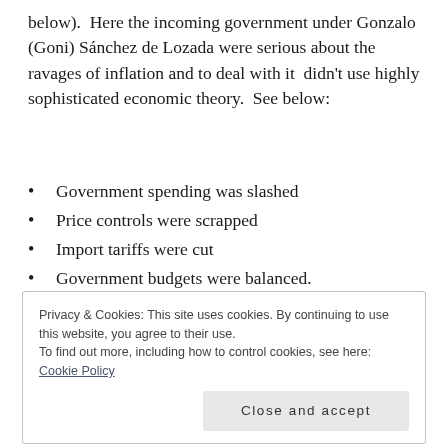below).  Here the incoming government under Gonzalo (Goni) Sánchez de Lozada were serious about the ravages of inflation and to deal with it  didn't use highly sophisticated economic theory.  See below:
Government spending was slashed
Price controls were scrapped
Import tariffs were cut
Government budgets were balanced.
No borrowing from the Central Bank
Privacy & Cookies: This site uses cookies. By continuing to use this website, you agree to their use.
To find out more, including how to control cookies, see here: Cookie Policy
Close and accept